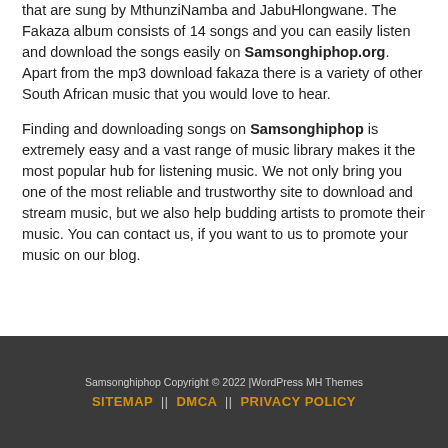that are sung by MthunziNamba and JabuHlongwane. The Fakaza album consists of 14 songs and you can easily listen and download the songs easily on Samsonghiphop.org. Apart from the mp3 download fakaza there is a variety of other South African music that you would love to hear.
Finding and downloading songs on Samsonghiphop is extremely easy and a vast range of music library makes it the most popular hub for listening music. We not only bring you one of the most reliable and trustworthy site to download and stream music, but we also help budding artists to promote their music. You can contact us, if you want to us to promote your music on our blog.
Samsonghiphop Copyright © 2022 |WordPress MH Themes
SITEMAP || DMCA || PRIVACY POLICY